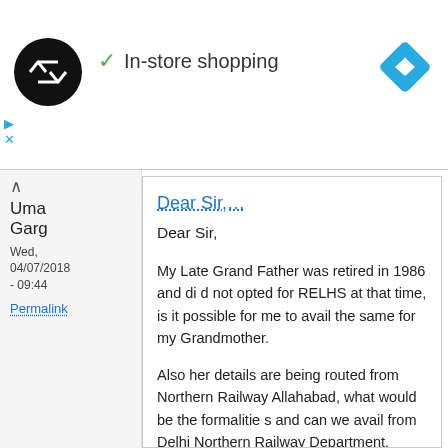[Figure (logo): Black circle logo with white double arrow/infinity symbol, green checkmark icon with 'In-store shopping' text, and blue diamond navigation icon on right]
Uma Garg
Wed, 04/07/2018 - 09:44
Permalink
Dear Sir,…
Dear Sir,
My Late Grand Father was retired in 1986 and did not opted for RELHS at that time, is it possible for me to avail the same for my Grandmother.
Also her details are being routed from Northern Railway Allahabad, what would be the formalities and can we avail from Delhi Northern Railway Department.
Log in or register to post comments